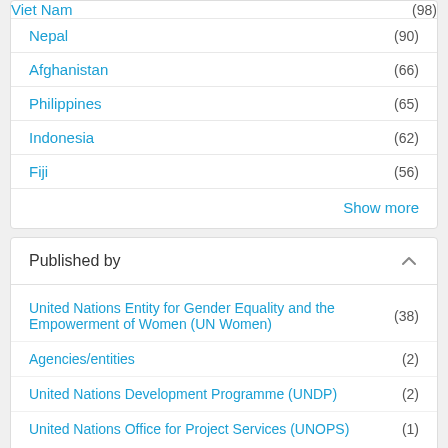Viet Nam (98)
Nepal (90)
Afghanistan (66)
Philippines (65)
Indonesia (62)
Fiji (56)
Show more
Published by
United Nations Entity for Gender Equality and the Empowerment of Women (UN Women) (38)
Agencies/entities (2)
United Nations Development Programme (UNDP) (2)
United Nations Office for Project Services (UNOPS) (1)
1 - 20 of 104 Results
1 2 3 4 5 ... »